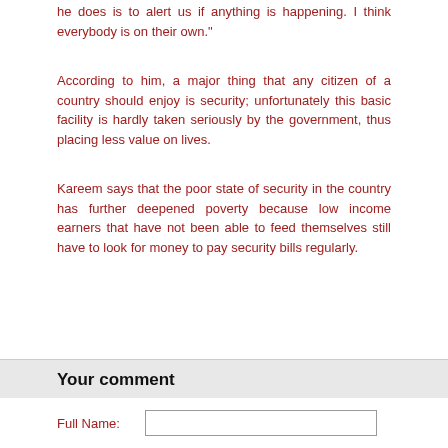he does is to alert us if anything is happening. I think everybody is on their own."
According to him, a major thing that any citizen of a country should enjoy is security; unfortunately this basic facility is hardly taken seriously by the government, thus placing less value on lives.
Kareem says that the poor state of security in the country has further deepened poverty because low income earners that have not been able to feed themselves still have to look for money to pay security bills regularly.
Your comment
Full Name: